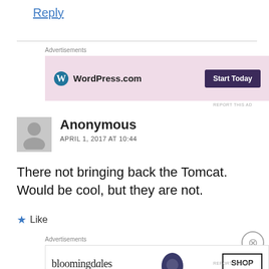Reply
Advertisements
[Figure (screenshot): WordPress.com advertisement banner with pink background and 'Start Today' button]
Anonymous
APRIL 1, 2017 AT 10:44
There not bringing back the Tomcat. Would be cool, but they are not.
Like
Advertisements
[Figure (screenshot): Bloomingdale's advertisement banner: 'View Today's Top Deals!' with SHOP NOW button and woman with hat]